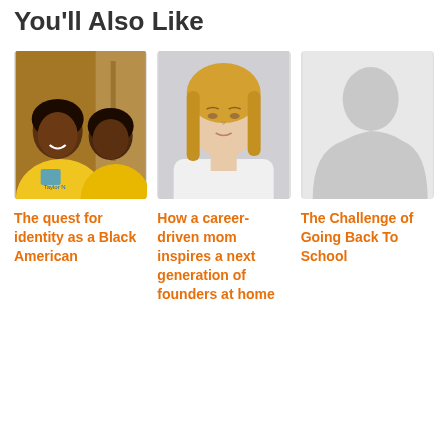You'll Also Like
[Figure (photo): Two Black women smiling together, wearing yellow sweatshirts with puzzle pieces, indoors]
[Figure (photo): Blonde woman in white top, professional headshot on grey background]
[Figure (photo): Placeholder silhouette image on light grey background]
The quest for identity as a Black American
How a career-driven mom inspires a next generation of founders at home
The Challenge of Going Back To School